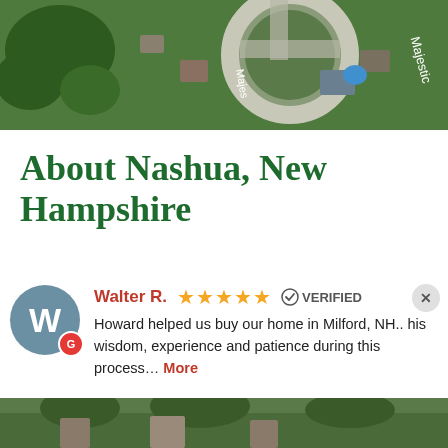[Figure (map): Aerial satellite map view showing neighborhood with houses, trees, roundabout, and street labels including 'Majestic' street name]
About Nashua, New Hampshire
[Figure (other): User review card showing reviewer Walter R. with 5 stars, VERIFIED badge, and review text: Howard helped us buy our home in Milford, NH.. his wisdom, experience and patience during this process... More]
[Figure (photo): Partial bottom photo showing trees and buildings]